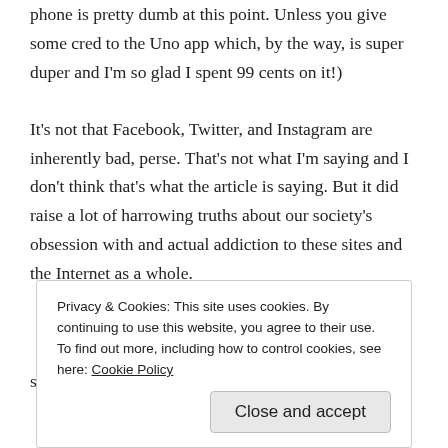phone is pretty dumb at this point. Unless you give some cred to the Uno app which, by the way, is super duper and I'm so glad I spent 99 cents on it!)
It's not that Facebook, Twitter, and Instagram are inherently bad, perse. That's not what I'm saying and I don't think that's what the article is saying. But it did raise a lot of harrowing truths about our society's obsession with and actual addiction to these sites and the Internet as a whole.
Privacy & Cookies: This site uses cookies. By continuing to use this website, you agree to their use.
To find out more, including how to control cookies, see here: Cookie Policy
Close and accept
see how I was basically tethered to social media. So